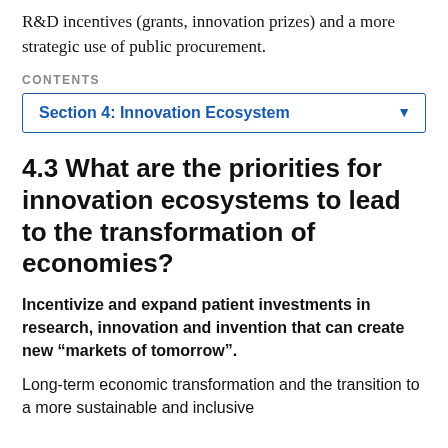R&D incentives (grants, innovation prizes) and a more strategic use of public procurement.
CONTENTS
Section 4: Innovation Ecosystem
4.3 What are the priorities for innovation ecosystems to lead to the transformation of economies?
Incentivize and expand patient investments in research, innovation and invention that can create new “markets of tomorrow”.
Long-term economic transformation and the transition to a more sustainable and inclusive